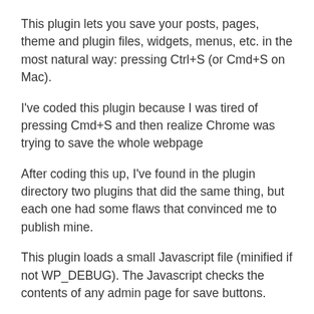This plugin lets you save your posts, pages, theme and plugin files, widgets, menus, etc. in the most natural way: pressing Ctrl+S (or Cmd+S on Mac).
I've coded this plugin because I was tired of pressing Cmd+S and then realize Chrome was trying to save the whole webpage
After coding this up, I've found in the plugin directory two plugins that did the same thing, but each one had some flaws that convinced me to publish mine.
This plugin loads a small Javascript file (minified if not WP_DEBUG). The Javascript checks the contents of any admin page for save buttons.
It is also so smart that saves as draft unpublished posts/pages and updates the ones that are already public.